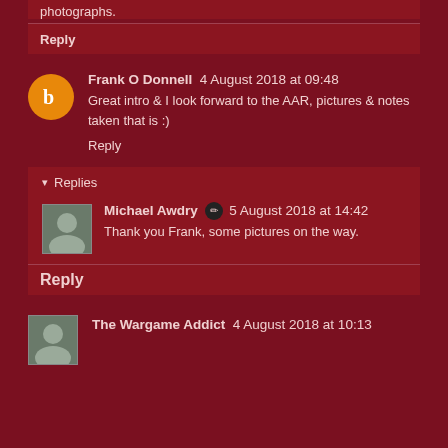photographs.
Reply
Frank O Donnell  4 August 2018 at 09:48
Great intro & I look forward to the AAR, pictures & notes taken that is :)
Reply
Replies
Michael Awdry  5 August 2018 at 14:42
Thank you Frank, some pictures on the way.
Reply
The Wargame Addict  4 August 2018 at 10:13